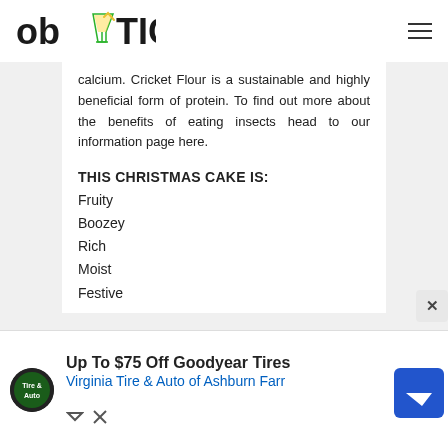ob TIC
calcium. Cricket Flour is a sustainable and highly beneficial form of protein. To find out more about the benefits of eating insects head to our information page here.
THIS CHRISTMAS CAKE IS:
Fruity
Boozey
Rich
Moist
Festive
[Figure (advertisement): Advertisement banner: Up To $75 Off Goodyear Tires - Virginia Tire & Auto of Ashburn Farr, with tire logo and navigation arrow icon]